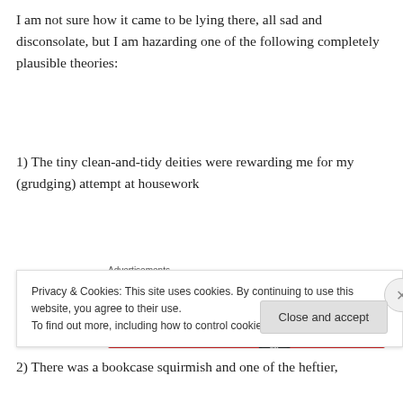I am not sure how it came to be lying there, all sad and disconsolate, but I am hazarding one of the following completely plausible theories:
1) The tiny clean-and-tidy deities were rewarding me for my (grudging) attempt at housework
[Figure (other): Pocket Casts advertisement banner with red background. Text reads 'An app by listeners, for listeners.' with Pocket Casts logo and phone image. Labeled 'Advertisements' above.]
2) There was a bookcase squirmish and one of the heftier,
Privacy & Cookies: This site uses cookies. By continuing to use this website, you agree to their use.
To find out more, including how to control cookies, see here: Cookie Policy
Close and accept